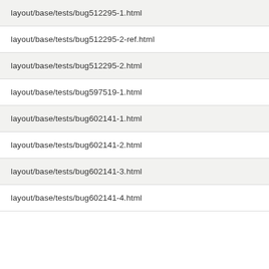layout/base/tests/bug512295-1.html
layout/base/tests/bug512295-2-ref.html
layout/base/tests/bug512295-2.html
layout/base/tests/bug597519-1.html
layout/base/tests/bug602141-1.html
layout/base/tests/bug602141-2.html
layout/base/tests/bug602141-3.html
layout/base/tests/bug602141-4.html